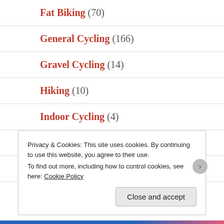Fat Biking (70)
General Cycling (166)
Gravel Cycling (14)
Hiking (10)
Indoor Cycling (4)
mental health (5)
Mountain Biking (68)
Privacy & Cookies: This site uses cookies. By continuing to use this website, you agree to their use. To find out more, including how to control cookies, see here: Cookie Policy
Close and accept